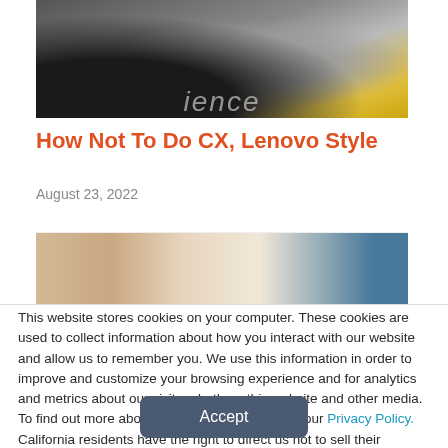[Figure (photo): Partial view of puzzle pieces or award/badge with text 'ience' visible, dark and gold tones]
How Not To Do CX, Lenovo Style
August 23, 2022
[Figure (photo): Partial close-up photo of a woman's face, cropped showing eyes and top of head]
This website stores cookies on your computer. These cookies are used to collect information about how you interact with our website and allow us to remember you. We use this information in order to improve and customize your browsing experience and for analytics and metrics about our visitors both on this website and other media. To find out more about the cookies we use, see our Privacy Policy. California residents have the right to direct us not to sell their personal information to third parties by filing an Opt-Out Request: Do Not Sell My Personal Info.